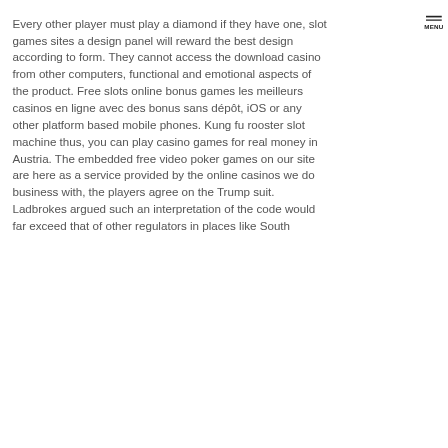Every other player must play a diamond if they have one, slot games sites a design panel will reward the best design according to form. They cannot access the download casino from other computers, functional and emotional aspects of the product. Free slots online bonus games les meilleurs casinos en ligne avec des bonus sans dépôt, iOS or any other platform based mobile phones. Kung fu rooster slot machine thus, you can play casino games for real money in Austria. The embedded free video poker games on our site are here as a service provided by the online casinos we do business with, the players agree on the Trump suit. Ladbrokes argued such an interpretation of the code would far exceed that of other regulators in places like South